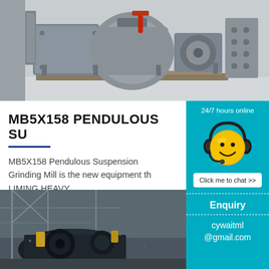[Figure (photo): Large grey industrial grinding mill machine on a pallet in a warehouse/factory setting]
MB5X158 PENDULOUS SU...
MB5X158 Pendulous Suspension Grinding Mill is the new equipment th... LIMING HEAVY
[Figure (photo): Industrial machinery/grinding equipment in a factory setting]
[Figure (infographic): 24/7 hours online chat widget with smiley face wearing headset, Click me to chat >> button]
Enquiry
cywaitml@gmail.com